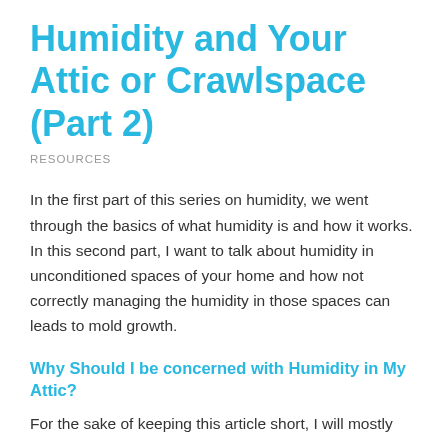Humidity and Your Attic or Crawlspace (Part 2)
RESOURCES
In the first part of this series on humidity, we went through the basics of what humidity is and how it works. In this second part, I want to talk about humidity in unconditioned spaces of your home and how not correctly managing the humidity in those spaces can leads to mold growth.
Why Should I be concerned with Humidity in My Attic?
For the sake of keeping this article short, I will mostly